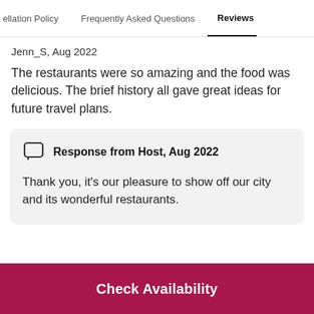ellation Policy   Frequently Asked Questions   Reviews
Jenn_S, Aug 2022
The restaurants were so amazing and the food was delicious. The brief history all gave great ideas for future travel plans.
Response from Host, Aug 2022
Thank you, it's our pleasure to show off our city and its wonderful restaurants.
Check Availability